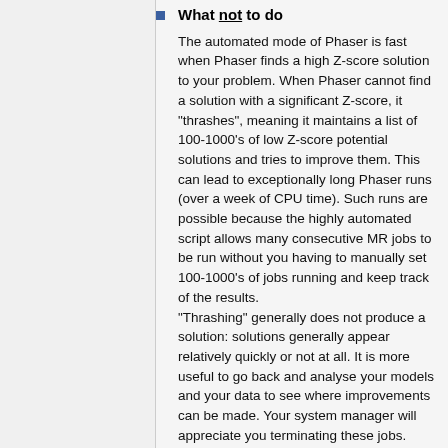What not to do
The automated mode of Phaser is fast when Phaser finds a high Z-score solution to your problem. When Phaser cannot find a solution with a significant Z-score, it "thrashes", meaning it maintains a list of 100-1000's of low Z-score potential solutions and tries to improve them. This can lead to exceptionally long Phaser runs (over a week of CPU time). Such runs are possible because the highly automated script allows many consecutive MR jobs to be run without you having to manually set 100-1000's of jobs running and keep track of the results.
"Thrashing" generally does not produce a solution: solutions generally appear relatively quickly or not at all. It is more useful to go back and analyse your models and your data to see where improvements can be made. Your system manager will appreciate you terminating these jobs.